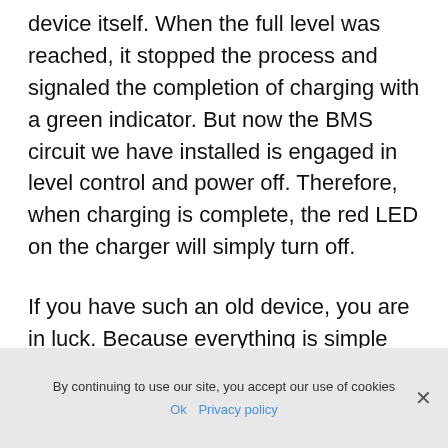device itself. When the full level was reached, it stopped the process and signaled the completion of charging with a green indicator. But now the BMS circuit we have installed is engaged in level control and power off. Therefore, when charging is complete, the red LED on the charger will simply turn off.
If you have such an old device, you are in luck. Because everything is simple with him. The diode is on. charging is in progress. Off. charging completed, battery fully charged.
By continuing to use our site, you accept our use of cookies  Ok  Privacy policy